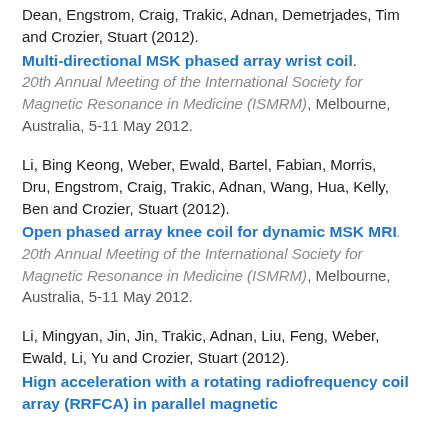Dean, Engstrom, Craig, Trakic, Adnan, Demetrjades, Tim and Crozier, Stuart (2012).
Multi-directional MSK phased array wrist coil. 20th Annual Meeting of the International Society for Magnetic Resonance in Medicine (ISMRM), Melbourne, Australia, 5-11 May 2012.
Li, Bing Keong, Weber, Ewald, Bartel, Fabian, Morris, Dru, Engstrom, Craig, Trakic, Adnan, Wang, Hua, Kelly, Ben and Crozier, Stuart (2012).
Open phased array knee coil for dynamic MSK MRI. 20th Annual Meeting of the International Society for Magnetic Resonance in Medicine (ISMRM), Melbourne, Australia, 5-11 May 2012.
Li, Mingyan, Jin, Jin, Trakic, Adnan, Liu, Feng, Weber, Ewald, Li, Yu and Crozier, Stuart (2012).
Hign acceleration with a rotating radiofrequency coil array (RRFCA) in parallel magnetic